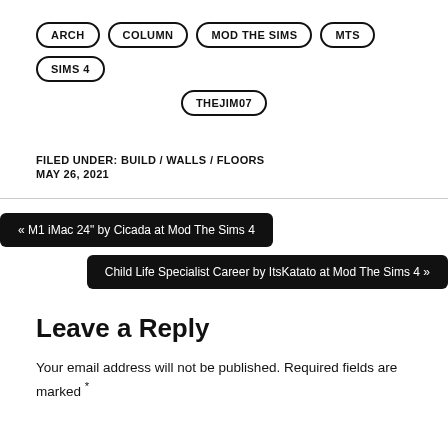ARCH
COLUMN
MOD THE SIMS
MTS
SIMS 4
THEJIM07
FILED UNDER: BUILD / WALLS / FLOORS
MAY 26, 2021
« M1 iMac 24" by Cicada at Mod The Sims 4
Child Life Specialist Career by ItsKatato at Mod The Sims 4 »
Leave a Reply
Your email address will not be published. Required fields are marked *